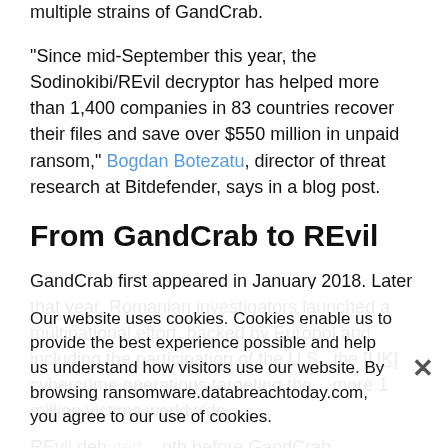multiple strains of GandCrab.
"Since mid-September this year, the Sodinokibi/REvil decryptor has helped more than 1,400 companies in 83 countries recover their files and save over $550 million in unpaid ransom," Bogdan Botezatu, director of threat research at Bitdefender, says in a blog post.
From GandCrab to REvil
GandCrab first appeared in January 2018. Later that year, Romanian investigators launched a multinational effort, backed by Europol and including the participation of the U.S., the [UK] cybercrime operations... more 1 million victims worldwide
REvil debuted... month before GandCrab disappeared. Both operations offered...
Our website uses cookies. Cookies enable us to provide the best experience possible and help us understand how visitors use our website. By browsing ransomware.databreachtoday.com, you agree to our use of cookies.